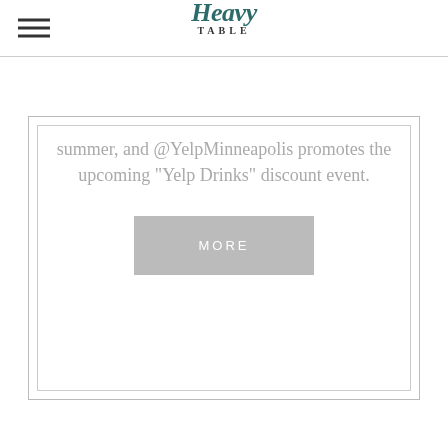Heavy Table
summer, and @YelpMinneapolis promotes the upcoming “Yelp Drinks” discount event.
[Figure (other): MORE button — a grey rectangular button with white uppercase text reading MORE]